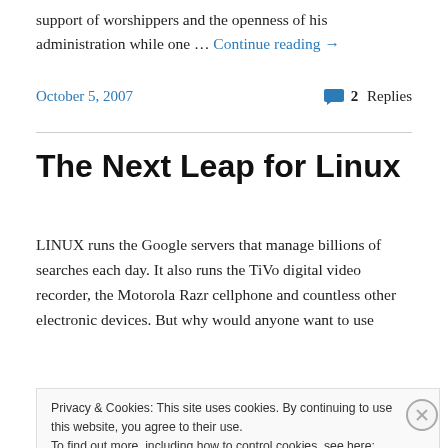support of worshippers and the openness of his administration while one … Continue reading →
October 5, 2007   💬 2 Replies
The Next Leap for Linux
LINUX runs the Google servers that manage billions of searches each day. It also runs the TiVo digital video recorder, the Motorola Razr cellphone and countless other electronic devices. But why would anyone want to use
Privacy & Cookies: This site uses cookies. By continuing to use this website, you agree to their use.
To find out more, including how to control cookies, see here: Cookie Policy